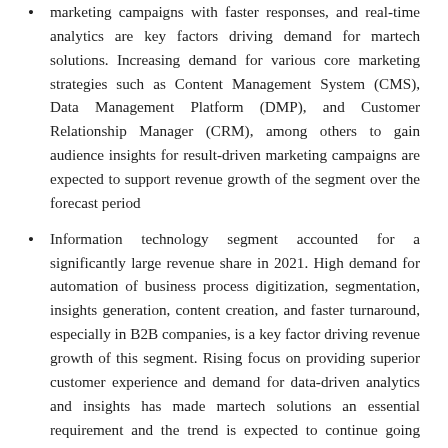marketing campaigns with faster responses, and real-time analytics are key factors driving demand for martech solutions. Increasing demand for various core marketing strategies such as Content Management System (CMS), Data Management Platform (DMP), and Customer Relationship Manager (CRM), among others to gain audience insights for result-driven marketing campaigns are expected to support revenue growth of the segment over the forecast period
Information technology segment accounted for a significantly large revenue share in 2021. High demand for automation of business process digitization, segmentation, insights generation, content creation, and faster turnaround, especially in B2B companies, is a key factor driving revenue growth of this segment. Rising focus on providing superior customer experience and demand for data-driven analytics and insights has made martech solutions an essential requirement and the trend is expected to continue going ahead.